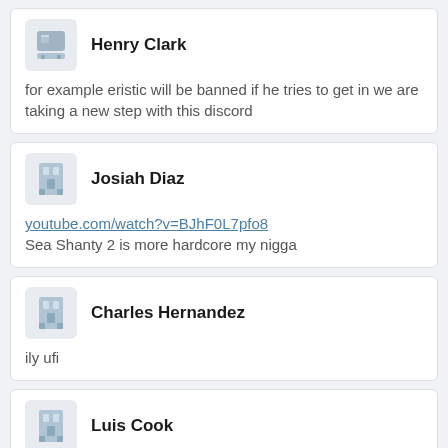Henry Clark
for example eristic will be banned if he tries to get in we are taking a new step with this discord
Josiah Diaz
youtube.com/watch?v=BJhF0L7pfo8
Sea Shanty 2 is more hardcore my nigga
Charles Hernandez
ily ufi
Luis Cook
servers back up fyi